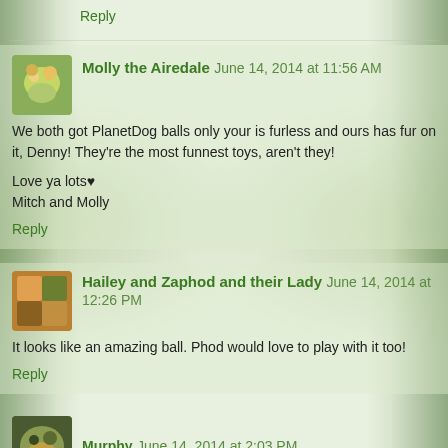Reply
Molly the Airedale  June 14, 2014 at 11:56 AM
We both got PlanetDog balls only your is furless and ours has fur on it, Denny! They're the most funnest toys, aren't they!

Love ya lots♥
Mitch and Molly
Reply
Hailey and Zaphod and their Lady  June 14, 2014 at 12:26 PM
It looks like an amazing ball. Phod would love to play with it too!
Reply
Murphy  June 14, 2014 at 2:03 PM